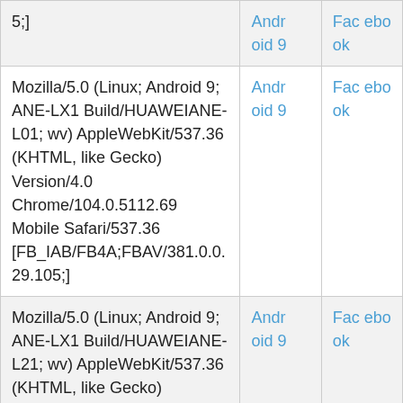| User Agent | OS | Browser |
| --- | --- | --- |
| 5;] | Andr oid 9 | Fac ebo ok |
| Mozilla/5.0 (Linux; Android 9; ANE-LX1 Build/HUAWEIANE-L01; wv) AppleWebKit/537.36 (KHTML, like Gecko) Version/4.0 Chrome/104.0.5112.69 Mobile Safari/537.36 [FB_IAB/FB4A;FBAV/381.0.0.29.105;] | Andr oid 9 | Fac ebo ok |
| Mozilla/5.0 (Linux; Android 9; ANE-LX1 Build/HUAWEIANE-L21; wv) AppleWebKit/537.36 (KHTML, like Gecko) Version/4.0 Chrome/91.0.4472.101 Mobile Safari/537.36 [FB_IAB/FB4A;FBAV/360.0.0.30.113;] | Andr oid 9 | Fac ebo ok |
| Mozilla/5.0 (Linux; Android 9; ANE-LX3 Build/HUAWEIANE-L03; wv) | Andr oid 9 | Facebo |